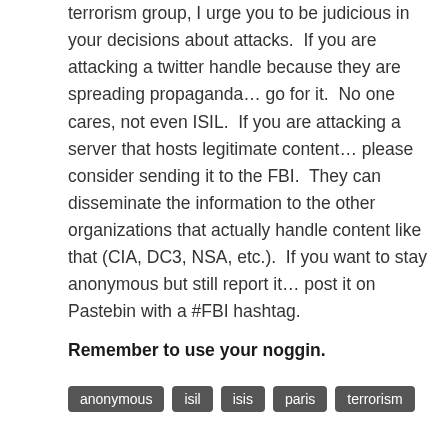terrorism group, I urge you to be judicious in your decisions about attacks.  If you are attacking a twitter handle because they are spreading propaganda… go for it.  No one cares, not even ISIL.  If you are attacking a server that hosts legitimate content… please consider sending it to the FBI.  They can disseminate the information to the other organizations that actually handle content like that (CIA, DC3, NSA, etc.).  If you want to stay anonymous but still report it… post it on Pastebin with a #FBI hashtag.
Remember to use your noggin.
anonymous  isil  isis  paris  terrorism